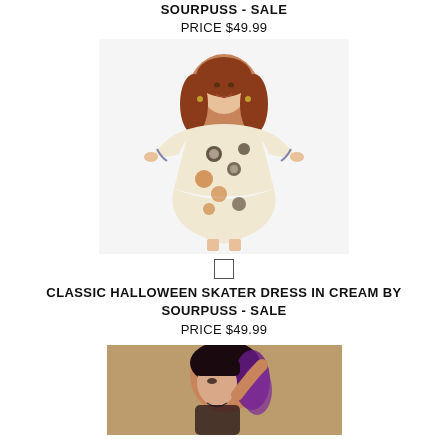SOURPUSS - SALE
PRICE $49.99
[Figure (photo): Woman wearing a cream-colored Halloween skater dress with skull and leopard print pattern, long sleeves, tattoos visible on arms]
CLASSIC HALLOWEEN SKATER DRESS IN CREAM BY SOURPUSS - SALE
PRICE $49.99
[Figure (photo): Woman with black and purple hair, partially visible at bottom of page]